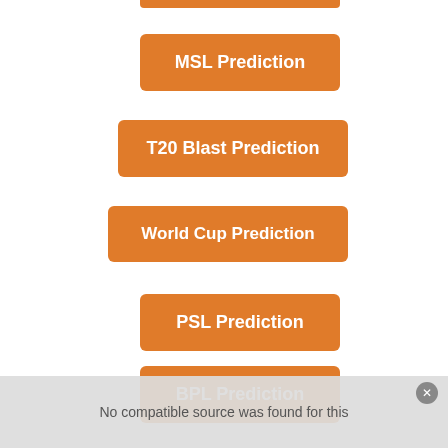MSL Prediction
T20 Blast Prediction
World Cup Prediction
PSL Prediction
BPL Prediction
No compatible source was found for this